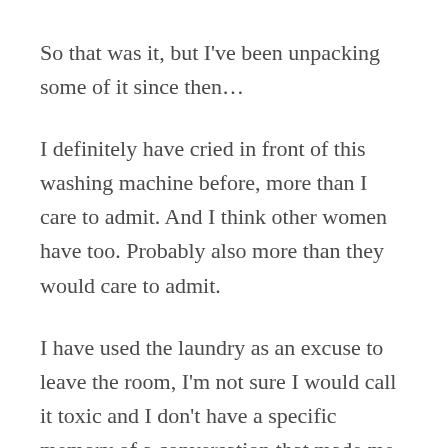So that was it, but I've been unpacking some of it since then…
I definitely have cried in front of this washing machine before, more than I care to admit. And I think other women have too. Probably also more than they would care to admit.
I have used the laundry as an excuse to leave the room, I'm not sure I would call it toxic and I don't have a specific memory of a conversation that made me want to run either, but it felt true.
Most of the time my sermons seem to be well received,